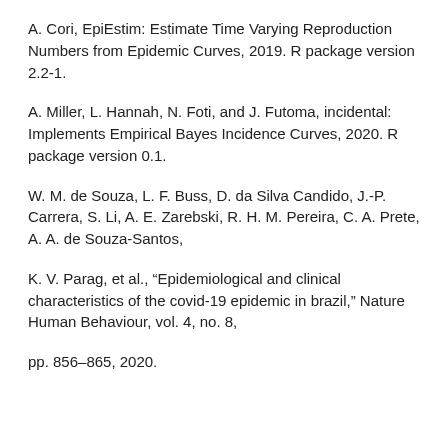A. Cori, EpiEstim: Estimate Time Varying Reproduction Numbers from Epidemic Curves, 2019. R package version 2.2-1.
A. Miller, L. Hannah, N. Foti, and J. Futoma, incidental: Implements Empirical Bayes Incidence Curves, 2020. R package version 0.1.
W. M. de Souza, L. F. Buss, D. da Silva Candido, J.-P. Carrera, S. Li, A. E. Zarebski, R. H. M. Pereira, C. A. Prete, A. A. de Souza-Santos,
K. V. Parag, et al., “Epidemiological and clinical characteristics of the covid-19 epidemic in brazil,” Nature Human Behaviour, vol. 4, no. 8,
pp. 856–865, 2020.